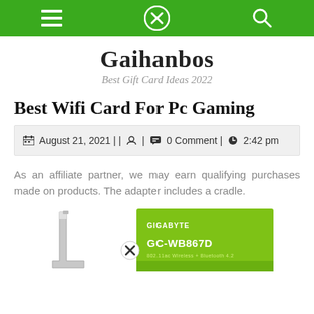Gaihanbos - Best Gift Card Ideas 2022 (navigation bar)
Gaihanbos
Best Gift Card Ideas 2022
Best Wifi Card For Pc Gaming
August 21, 2021 | | 0 Comment | 2:42 pm
As an affiliate partner, we may earn qualifying purchases made on products. The adapter includes a cradle.
[Figure (photo): Two product images partially visible at the bottom: left shows a metal bracket/cradle, right shows a Gigabyte GC-WB867D WiFi card in green box packaging.]